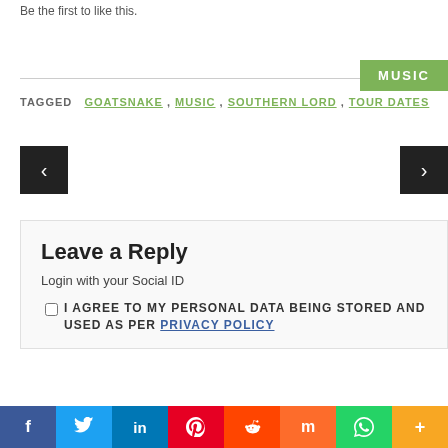Be the first to like this.
MUSIC
TAGGED GOATSNAKE , MUSIC , SOUTHERN LORD , TOUR DATES
[Figure (other): Previous navigation arrow button (left chevron, dark background)]
[Figure (other): Next navigation arrow button (right chevron, dark background)]
Leave a Reply
Login with your Social ID
I AGREE TO MY PERSONAL DATA BEING STORED AND USED AS PER PRIVACY POLICY
[Figure (other): Social share bar: Facebook, Twitter, LinkedIn, Pinterest, Reddit, Mix, WhatsApp, More]